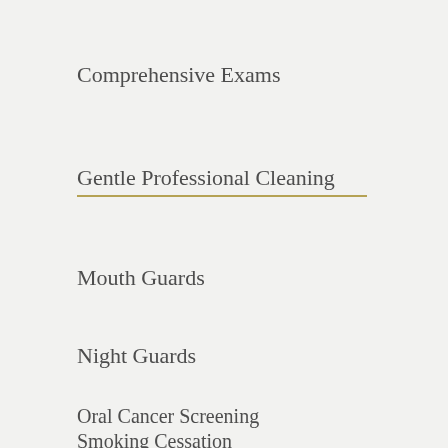Comprehensive Exams
Gentle Professional Cleaning
Mouth Guards
Night Guards
Oral Cancer Screening
Smoking Cessation